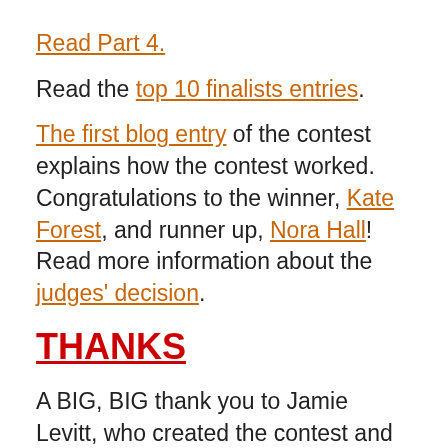Read Part 4.
Read the top 10 finalists entries.
The first blog entry of the contest explains how the contest worked. Congratulations to the winner, Kate Forest, and runner up, Nora Hall! Read more information about the judges' decision.
THANKS
A BIG, BIG thank you to Jamie Levitt, who created the contest and was the genius and hard work behind it, to